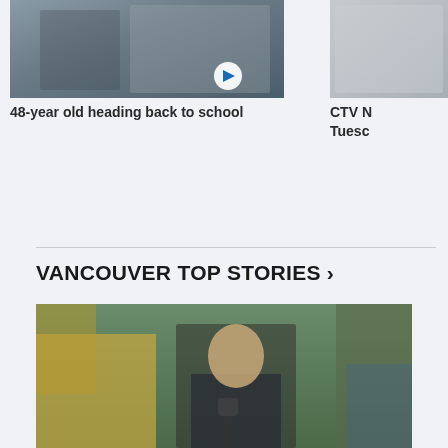[Figure (photo): Person standing in front of large decorative letters outdoors; video thumbnail with play button]
48-year old heading back to school
[Figure (photo): Partial CTV News thumbnail on right side, partially cropped]
CTV N... Tuesc...
VANCOUVER TOP STORIES ›
[Figure (photo): Man in suit speaking at a press conference outdoors with construction equipment behind him]